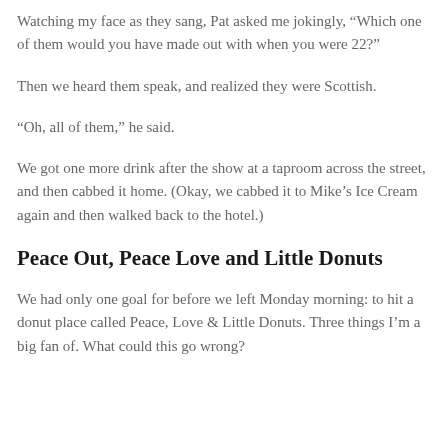Watching my face as they sang, Pat asked me jokingly, “Which one of them would you have made out with when you were 22?”
Then we heard them speak, and realized they were Scottish.
“Oh, all of them,” he said.
We got one more drink after the show at a taproom across the street, and then cabbed it home. (Okay, we cabbed it to Mike’s Ice Cream again and then walked back to the hotel.)
Peace Out, Peace Love and Little Donuts
We had only one goal for before we left Monday morning: to hit a donut place called Peace, Love & Little Donuts. Three things I’m a big fan of. What could this go wrong?